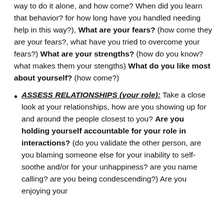way to do it alone, and how come? When did you learn that behavior? for how long have you handled needing help in this way?), What are your fears? (how come they are your fears?, what have you tried to overcome your fears?) What are your strengths? (how do you know? what makes them your stengths) What do you like most about yourself? (how come?)
ASSESS RELATIONSHIPS (your role): Take a close look at your relationships, how are you showing up for and around the people closest to you? Are you holding yourself accountable for your role in interactions? (do you validate the other person, are you blaming someone else for your inability to self-soothe and/or for your unhappiness? are you name calling? are you being condescending?) Are you enjoying your